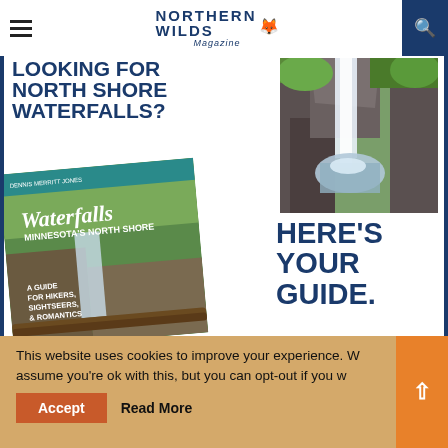Northern Wilds Magazine
[Figure (illustration): Advertisement for Waterfalls of Minnesota's North Shore book. Left side shows text 'Looking for North Shore Waterfalls?' with a book cover image of Waterfalls Minnesota's North Shore guide. Right side shows a photograph of a waterfall and text 'Here's Your Guide.']
This website uses cookies to improve your experience. We assume you're ok with this, but you can opt-out if you wish.
Accept
Read More